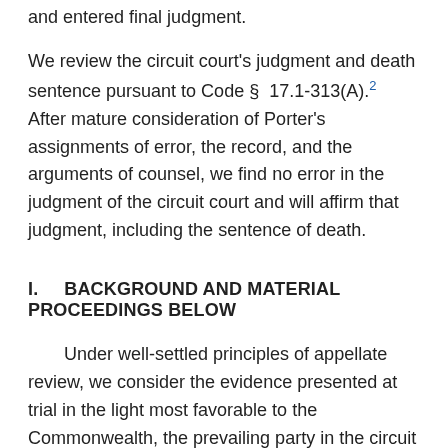and entered final judgment.
We review the circuit court's judgment and death sentence pursuant to Code § 17.1-313(A).2  After mature consideration of Porter's assignments of error, the record, and the arguments of counsel, we find no error in the judgment of the circuit court and will affirm that judgment, including the sentence of death.
I.    BACKGROUND AND MATERIAL PROCEEDINGS BELOW
Under well-settled principles of appellate review, we consider the evidence presented at trial in the light most favorable to the Commonwealth, the prevailing party in the circuit court.   Gray v. Commonwealth, 274 Va. 290, 295, 645 S.E.2d 448, 452 (2007), cert. denied, — U.S. —, 128 S.Ct. 1111, 169 L.Ed.2d 826 (2008);  Juniper v. Commonwealth, 271 Va. 362, 376, 626 S.E.2d 383, 393, cert. denied, 549 U.S. 960, 127 S.Ct. 397, 166 L.Ed.2d 282 (2006).